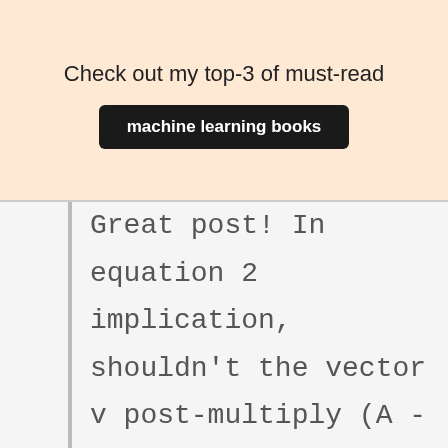Check out my top-3 of must-read
machine learning books
Great post! In equation 2 implication, shouldn’t the vector v post-multiply (A - \lambda I) since